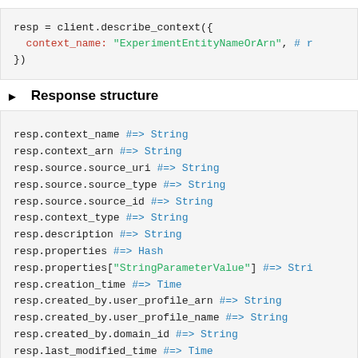resp = client.describe_context({
  context_name: "ExperimentEntityNameOrArn", # r
})
▶ Response structure
resp.context_name #=> String
resp.context_arn #=> String
resp.source.source_uri #=> String
resp.source.source_type #=> String
resp.source.source_id #=> String
resp.context_type #=> String
resp.description #=> String
resp.properties #=> Hash
resp.properties["StringParameterValue"] #=> Stri
resp.creation_time #=> Time
resp.created_by.user_profile_arn #=> String
resp.created_by.user_profile_name #=> String
resp.created_by.domain_id #=> String
resp.last_modified_time #=> Time
resp.last_modified_by.user_profile_arn #=> Stri